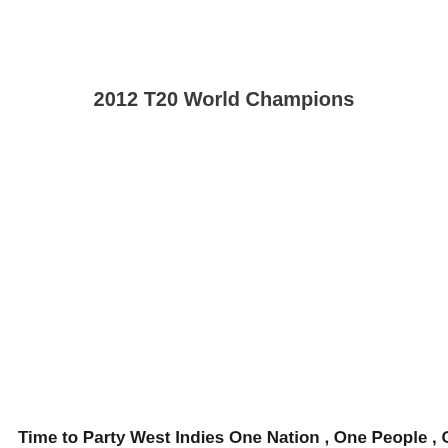2012 T20 World Champions
Time to Party West Indies One Nation , One People , One